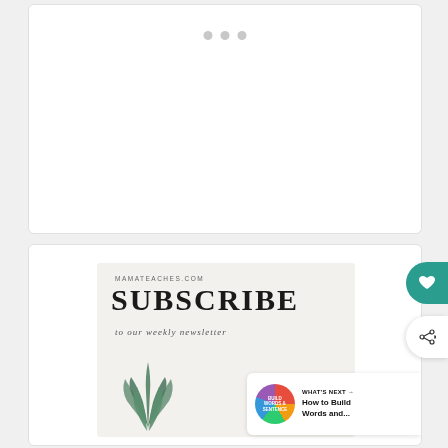[Figure (other): Top white card with three gray dots (carousel indicators) on a light gray background]
[Figure (illustration): Subscribe banner from mamateaches.com showing 'SUBSCRIBE to our weekly newsletter' text with a plant illustration and blurred background items]
WHAT'S NEXT → How to Build Words and...